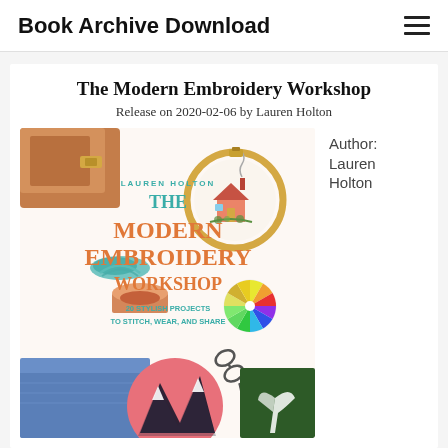Book Archive Download
The Modern Embroidery Workshop
Release on 2020-02-06 by Lauren Holton
[Figure (photo): Book cover of The Modern Embroidery Workshop by Lauren Holton. Shows embroidery hoops, thread, scissors, and needlework on a white background. Title text reads: LAUREN HOLTON / THE MODERN EMBROIDERY WORKSHOP / 20 STYLISH PROJECTS TO STITCH, WEAR, AND SHARE]
Author: Lauren Holton